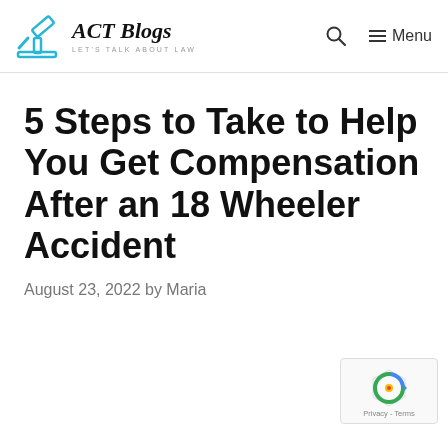ACT Blogs — LET'S TALK ABOUT LAW
5 Steps to Take to Help You Get Compensation After an 18 Wheeler Accident
August 23, 2022 by Maria